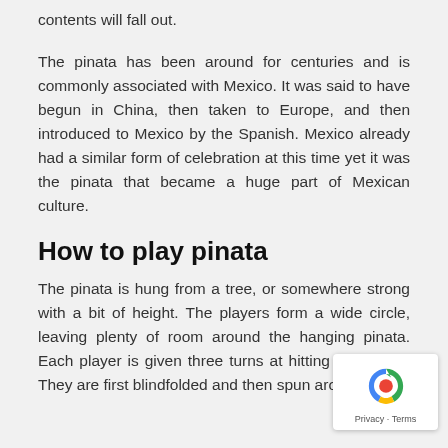contents will fall out.
The pinata has been around for centuries and is commonly associated with Mexico. It was said to have begun in China, then taken to Europe, and then introduced to Mexico by the Spanish. Mexico already had a similar form of celebration at this time yet it was the pinata that became a huge part of Mexican culture.
How to play pinata
The pinata is hung from a tree, or somewhere strong with a bit of height. The players form a wide circle, leaving plenty of room around the hanging pinata. Each player is given three turns at hitting the pinata. They are first blindfolded and then spun around